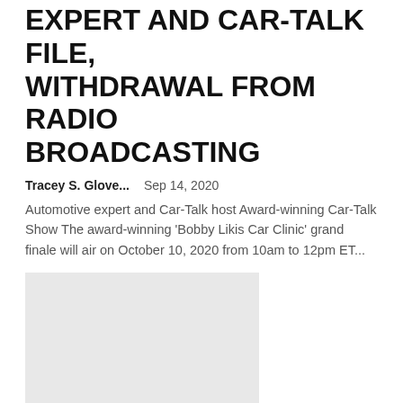EXPERT AND CAR-TALK FILE, WITHDRAWAL FROM RADIO BROADCASTING
Tracey S. Glove...    Sep 14, 2020
Automotive expert and Car-Talk host Award-winning Car-Talk Show The award-winning 'Bobby Likis Car Clinic' grand finale will air on October 10, 2020 from 10am to 12pm ET...
[Figure (photo): Gray placeholder image rectangle]
Texans-Chiefs NFL Kickoff 2020: schedule, game time, TV